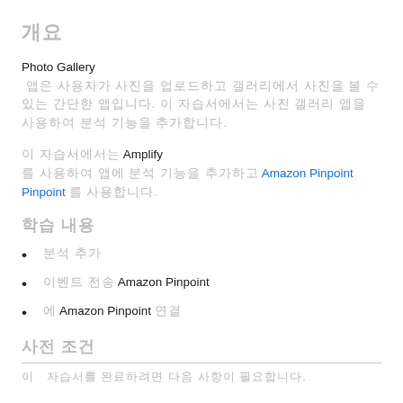개요
Photo Gallery 앱은 사용자가 사진을 업로드하고 갤러리에서 사진을 볼 수 있는 간단한 앱입니다.
이 자습서에서는 Amplify 를 사용하여 앱에 분석 기능을 추가하고 Amazon Pinpoint 를 사용합니다.
학습 내용
분석 추가
이벤트 전송 Amazon Pinpoint
에 Amazon Pinpoint 연결
사전 조건
이 자습서를 완료하려면...